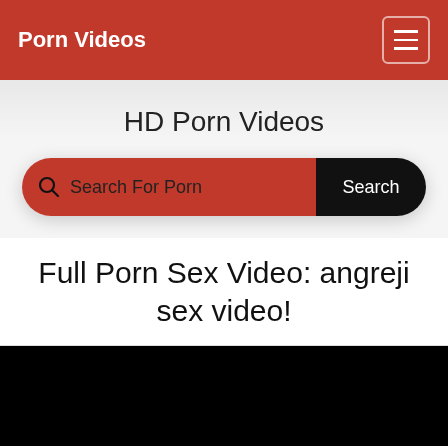Porn Videos
HD Porn Videos
Search For Porn — Search
Full Porn Sex Video: angreji sex video!